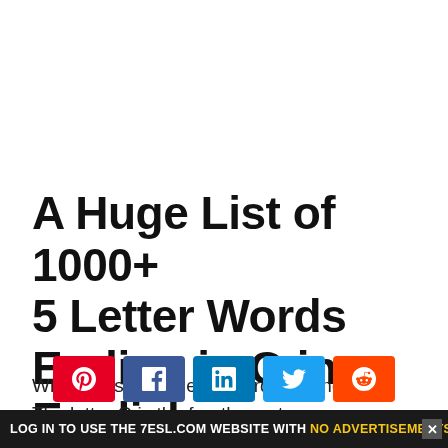A Huge List of 1000+ 5 Letter Words Ending in O in English
What are some 5 letter words ending in O? The letter O is the fourth most common
[Figure (other): Social sharing buttons: Pinterest (red), Facebook (blue), LinkedIn (light blue), Twitter (sky blue), Reddit (orange)]
LOG IN TO USE THE 7ESL.COM WEBSITE WITH NO ADVERTISEMENTS